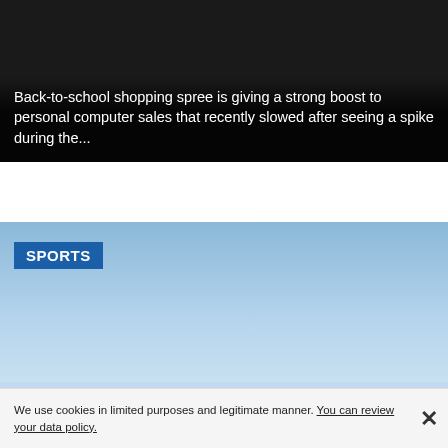Back-to-school shopping spree is giving a strong boost to personal computer sales that recently slowed after seeing a spike during the...
[Figure (photo): Outdoor sports event photo showing a large crowd of cyclists/athletes gathered in front of a monumental building (likely Atatürk Mausoleum in Ankara) under a clear blue sky. A 'SPORTS' label badge overlays the top-left of the image.]
We use cookies in limited purposes and legitimate manner. You can review your data policy.